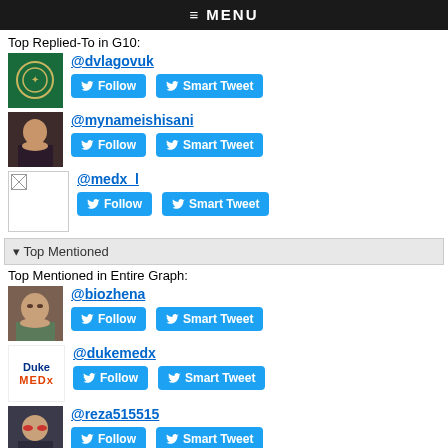≡ MENU
Top Replied-To in G10:
@dvlagovuk
@mynameishisani
@medx_l
▾ Top Mentioned
Top Mentioned in Entire Graph:
@biozhena
@dukemedx
@reza515515